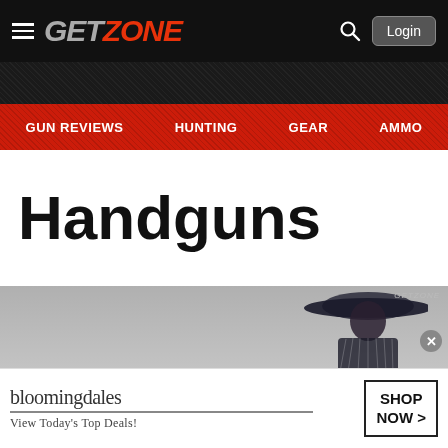GETZONE — Login
GUN REVIEWS   HUNTING   GEAR   AMMO
Handguns
[Figure (screenshot): Bloomingdales advertisement banner with woman in wide-brim hat and 'SHOP NOW >' button. Text: bloomingdales — View Today's Top Deals!]